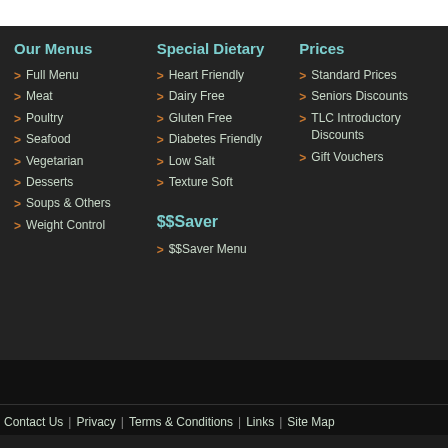Our Menus
> Full Menu
> Meat
> Poultry
> Seafood
> Vegetarian
> Desserts
> Soups & Others
> Weight Control
Special Dietary
> Heart Friendly
> Dairy Free
> Gluten Free
> Diabetes Friendly
> Low Salt
> Texture Soft
$$Saver
> $$Saver Menu
Prices
> Standard Prices
> Seniors Discounts
> TLC Introductory Discounts
> Gift Vouchers
Contact Us | Privacy | Terms & Conditions | Links | Site Map